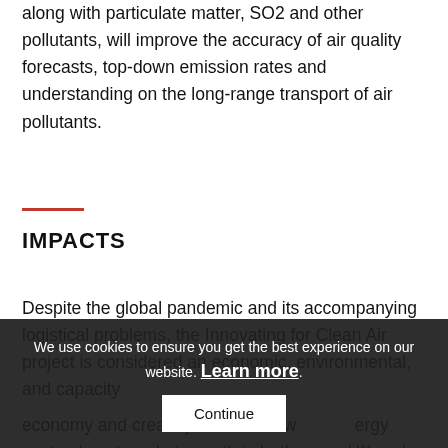along with particulate matter, SO2 and other pollutants, will improve the accuracy of air quality forecasts, top-down emission rates and understanding on the long-range transport of air pollutants.
IMPACTS
Despite the global pandemic and its accompanying logistical problems, the Innovating for Clean Air project is considered an economic, environmental, and capacity [building success. The project aims to stimulate the] economy and create jobs in the low [carbon] energy sector, boost market growth in both [the UK and] create [new opportunities for…]
We use cookies to ensure you get the best experience on our website. Learn more.